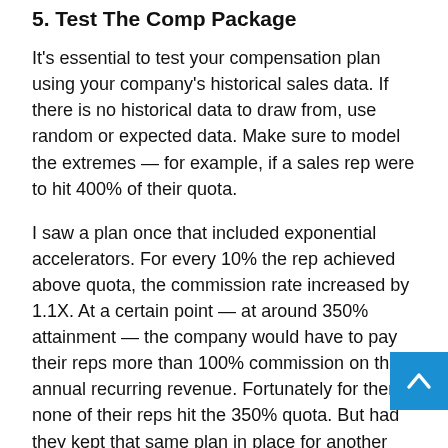5. Test The Comp Package
It's essential to test your compensation plan using your company's historical sales data. If there is no historical data to draw from, use random or expected data. Make sure to model the extremes — for example, if a sales rep were to hit 400% of their quota.
I saw a plan once that included exponential accelerators. For every 10% the rep achieved above quota, the commission rate increased by 1.1X. At a certain point — at around 350% attainment — the company would have to pay their reps more than 100% commission on the annual recurring revenue. Fortunately for them, none of their reps hit the 350% quota. But had they kept that same plan in place for another year, a few reps would have likely hit the…